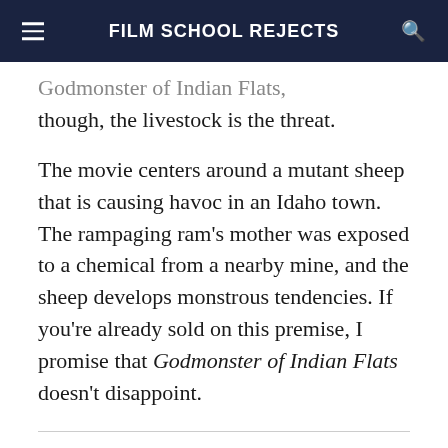FILM SCHOOL REJECTS
Godmonster of Indian Flats, though, the livestock is the threat.
The movie centers around a mutant sheep that is causing havoc in an Idaho town. The rampaging ram’s mother was exposed to a chemical from a nearby mine, and the sheep develops monstrous tendencies. If you’re already sold on this premise, I promise that Godmonster of Indian Flats doesn’t disappoint.
High Plains Drifter (1973) and Pale Rider (1985)